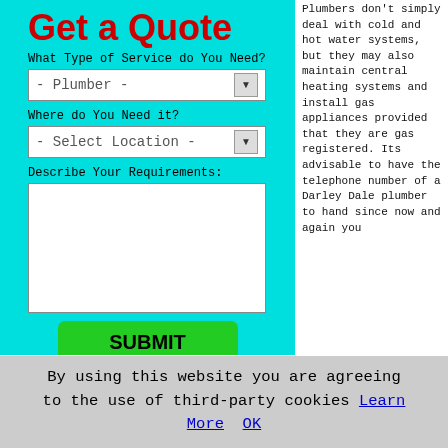Get a Quote
What Type of Service do You Need?
- Plumber -
Where do You Need it?
- Select Location -
Describe Your Requirements:
SUBMIT
Plumbers don't simply deal with cold and hot water systems, but they may also maintain central heating systems and install gas appliances provided that they are gas registered. Its advisable to have the telephone number of a Darley Dale plumber to hand since now and again you
By using this website you are agreeing to the use of third-party cookies Learn More  OK